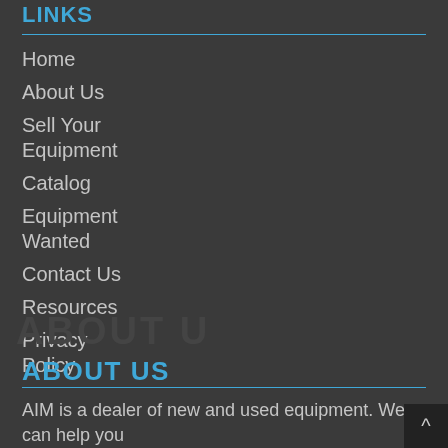LINKS
Home
About Us
Sell Your Equipment
Catalog
Equipment Wanted
Contact Us
Resources
Privacy Policy
ABOUT US
AIM is a dealer of new and used equipment. We can help you